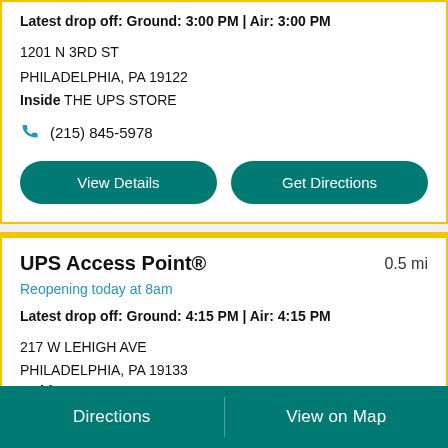Latest drop off: Ground: 3:00 PM | Air: 3:00 PM
1201 N 3RD ST
PHILADELPHIA, PA 19122
Inside THE UPS STORE
(215) 845-5978
View Details
Get Directions
UPS Access Point®
0.5 mi
Reopening today at 8am
Latest drop off: Ground: 4:15 PM | Air: 4:15 PM
217 W LEHIGH AVE
PHILADELPHIA, PA 19133
Inside PHARMACY OF AMERICA III
Directions | View on Map